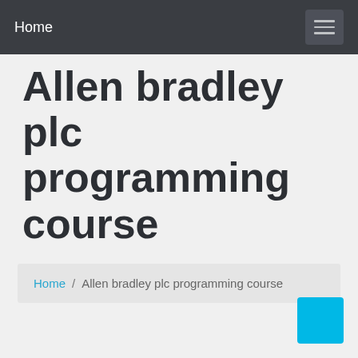Home
Allen bradley plc programming course
Home / Allen bradley plc programming course